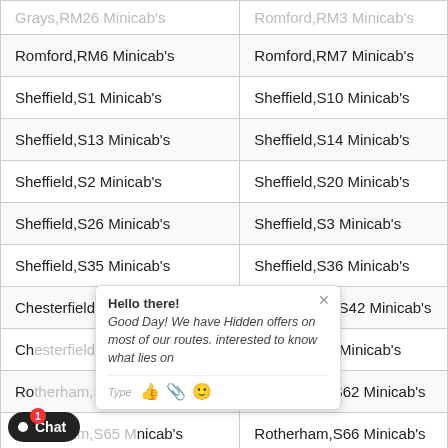| Grays,RM26 Minicab's | Romford,RM3 Minicab's |
| Romford,RM6 Minicab's | Romford,RM7 Minicab's |
| Sheffield,S1 Minicab's | Sheffield,S10 Minicab's |
| Sheffield,S13 Minicab's | Sheffield,S14 Minicab's |
| Sheffield,S2 Minicab's | Sheffield,S20 Minicab's |
| Sheffield,S26 Minicab's | Sheffield,S3 Minicab's |
| Sheffield,S35 Minicab's | Sheffield,S36 Minicab's |
| Chesterfield,S41 Minicab's | Chesterfield,S42 Minicab's |
| Chesterfield,S43 Minicab's | Sheffield,S5 Minicab's |
| Rotherham,S60 Minicab's | Rotherham,S62 Minicab's |
| Rotherham,S65 Minicab's | Rotherham,S66 Minicab's |
| Barnsley,S71 Minicab's | Barnsley,S72 Minicab's |
| Barnsley,S75 Minicab's | Sheffield,S8 Minicab's |